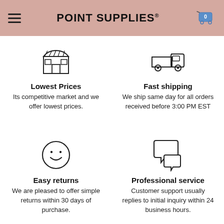POINT SUPPLIES®
[Figure (illustration): Store/shop icon with awning and window]
Lowest Prices
Its competitive market and we offer lowest prices.
[Figure (illustration): Delivery truck icon]
Fast shipping
We ship same day for all orders received before 3:00 PM EST
[Figure (illustration): Smiley face circle icon]
Easy returns
We are pleased to offer simple returns within 30 days of purchase.
[Figure (illustration): Two speech bubble chat icons]
Professional service
Customer support usually replies to initial inquiry within 24 business hours.